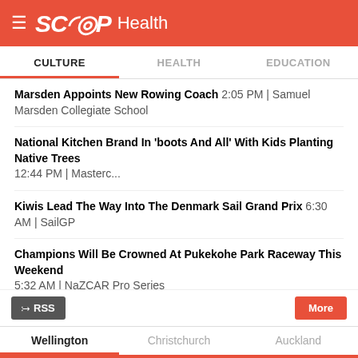SCOOP Health
CULTURE | HEALTH | EDUCATION
Marsden Appoints New Rowing Coach 2:05 PM | Samuel Marsden Collegiate School
National Kitchen Brand In 'boots And All' With Kids Planting Native Trees 12:44 PM | Masterc...
Kiwis Lead The Way Into The Denmark Sail Grand Prix 6:30 AM | SailGP
Champions Will Be Crowned At Pukekohe Park Raceway This Weekend 5:32 AM | NaZCAR Pro Series
MĀORI+ EXCLUSIVE: Stan Walker 'All In' LIVE Concert 18/08/22 | Maori Television
New Zealand's Biggest Drag Show Is In Palmerston North! 18/08/22 | Palmy Drag Fest
IRT Backs Rejuvenated 119th NZ Trotting Cup 18/08/22 | IRT New Zealand Trotting Cup
Wellington | Christchurch | Auckland